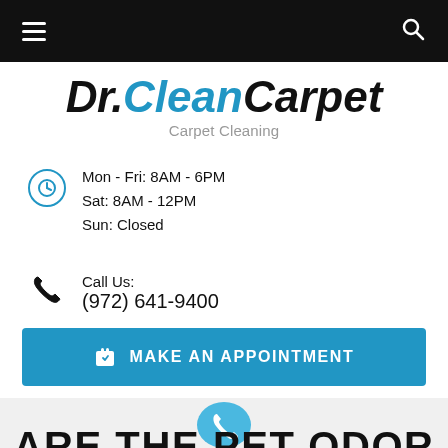Navigation bar with hamburger menu and search icon
Dr.CleanCarpet
Carpet Cleaning
Mon - Fri: 8AM - 6PM
Sat: 8AM - 12PM
Sun: Closed
Call Us:
(972) 641-9400
MAKE AN APPOINTMENT
[Figure (other): Blue circular phone icon button at bottom of page, above partially visible text 'ARE THE PET ODOR']